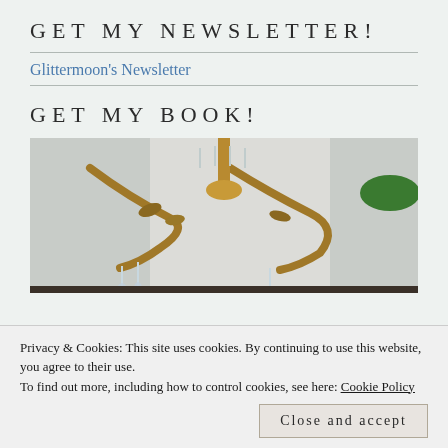GET MY NEWSLETTER!
Glittermoon's Newsletter
GET MY BOOK!
[Figure (photo): Close-up photo of an ornate brass chandelier with crystal drops, white fabric or curtain in background, green leaf visible on right side.]
Privacy & Cookies: This site uses cookies. By continuing to use this website, you agree to their use.
To find out more, including how to control cookies, see here: Cookie Policy
Close and accept